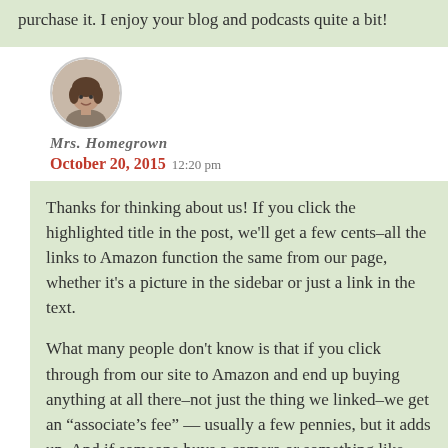purchase it. I enjoy your blog and podcasts quite a bit!
[Figure (photo): Circular avatar photo of Mrs. Homegrown, a woman with dark hair]
Mrs. Homegrown
October 20, 2015  12:20 pm
Thanks for thinking about us! If you click the highlighted title in the post, we'll get a few cents–all the links to Amazon function the same from our page, whether it's a picture in the sidebar or just a link in the text.
What many people don't know is that if you click through from our site to Amazon and end up buying anything at all there–not just the thing we linked–we get an “associate’s fee” — usually a few pennies, but it adds up. And if someone buys a camera or something like that, it’s much more substantial. This is true for all blogs/websites with Amazon links, and good to know if you’re